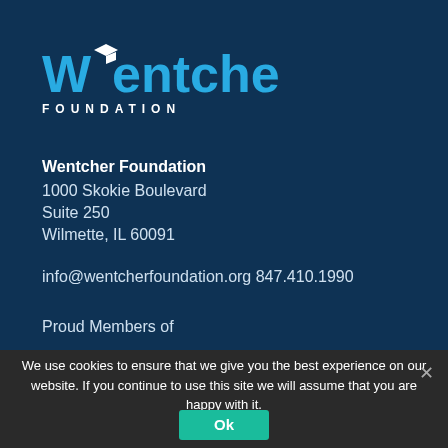[Figure (logo): Wentcher Foundation logo with graduation cap icon, teal and white text on dark blue background]
Wentcher Foundation
1000 Skokie Boulevard
Suite 250
Wilmette, IL 60091
info@wentcherfoundation.org 847.410.1990
Proud Members of
We use cookies to ensure that we give you the best experience on our website. If you continue to use this site we will assume that you are happy with it.